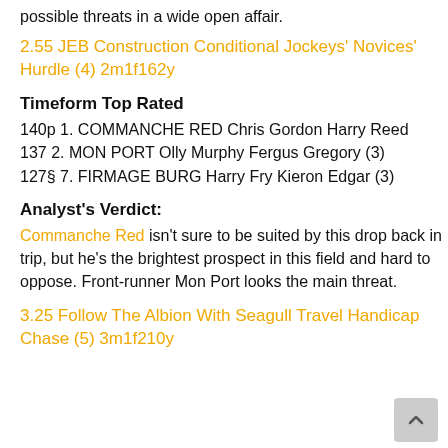possible threats in a wide open affair.
2.55 JEB Construction Conditional Jockeys' Novices' Hurdle (4) 2m1f162y
Timeform Top Rated
140p 1. COMMANCHE RED Chris Gordon Harry Reed
137 2. MON PORT Olly Murphy Fergus Gregory (3)
127§ 7. FIRMAGE BURG Harry Fry Kieron Edgar (3)
Analyst's Verdict:
Commanche Red isn't sure to be suited by this drop back in trip, but he's the brightest prospect in this field and hard to oppose. Front-runner Mon Port looks the main threat.
3.25 Follow The Albion With Seagull Travel Handicap Chase (5) 3m1f210y